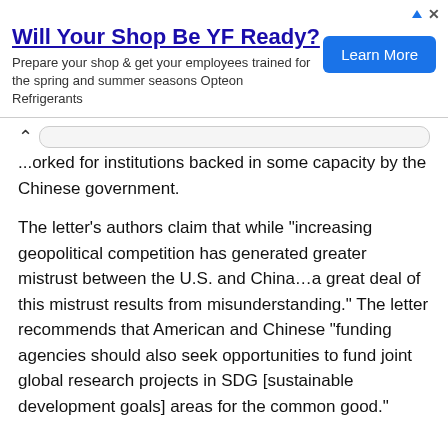[Figure (other): Advertisement banner: 'Will Your Shop Be YF Ready?' with Learn More button and Opteon Refrigerants description]
...orked for institutions backed in some capacity by the Chinese government.
The letter's authors claim that while "increasing geopolitical competition has generated greater mistrust between the U.S. and China...a great deal of this mistrust results from misunderstanding." The letter recommends that American and Chinese "funding agencies should also seek opportunities to fund joint global research projects in SDG [sustainable development goals] areas for the common good."
READ MORE
National, News   American Professors, CCP, China, Chinese government, Chinese Propaganda, college, cooperation with China, COVID-19,